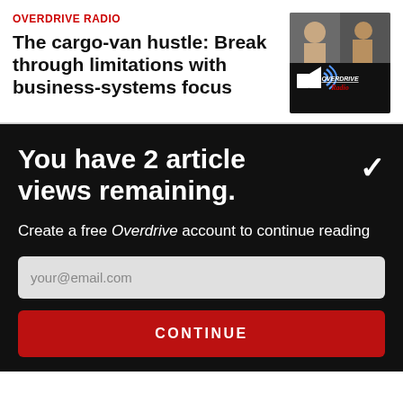OVERDRIVE RADIO
The cargo-van hustle: Break through limitations with business-systems focus
[Figure (photo): Thumbnail image split into two: top half shows a person, bottom half shows Overdrive Radio logo with speaker/sound icon on dark background]
You have 2 article views remaining.
Create a free Overdrive account to continue reading
your@email.com
CONTINUE